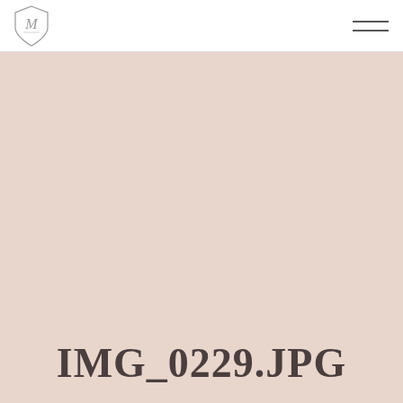[Figure (logo): Shield-shaped logo with stylized letter M inside, thin border, decorative script font]
[Figure (illustration): Hamburger menu icon — two horizontal parallel lines]
[Figure (photo): Large blush/dusty rose pink background fill area]
IMG_0229.JPG